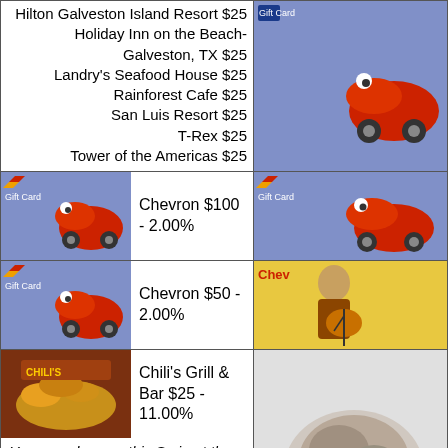| Hilton Galveston Island Resort $25
Holiday Inn on the Beach-Galveston, TX $25
Landry's Seafood House $25
Rainforest Cafe $25
San Luis Resort $25
T-Rex $25
Tower of the Americas $25 | [Chevron gift card image] |
| [Chevron card] Chevron $100 - 2.00% | [Chevron card image] |
| [Chevron card] Chevron $50 - 2.00% | [Chippi card image] |
| [Chili's card] Chili's Grill & Bar $25 - 11.00%
You can also use this Scrip at these Businesses:
Macaroni Grill $25
Maggiano's Little Italy $25
On The Border $25 | [food image] |
| [Chuck E. Cheese card] Chuck E. Cheese ... | [AMC card] |